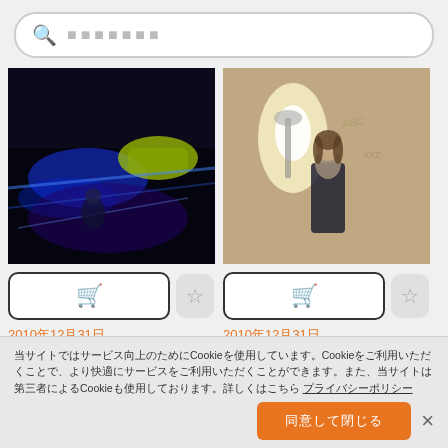🔍 ⬛⬛⬛⬛⬛⬛⬛ (search bar placeholder)
[Figure (photo): Movie still from The Killer Inside Me (2010) — dark scene with blue and green light streaks, car interior, night racing]
[Figure (photo): Movie still from The Killer Inside Me (2010) — woman in black dress standing against a worn wall with a lamp]
2010年12月31日
The Killer Inside Me (2010)
2010年12月31日
The Killer Inside Me (2010)
当サイトではサービス向上のためにCookieを使用しています。Cookieをご利用いただくことで、より快適にサービスをご利用いただくことができます。また、当サイトは第三者によるCookieも使用しております。詳しくはこちら プライバシーポリシー
同意して閉じる